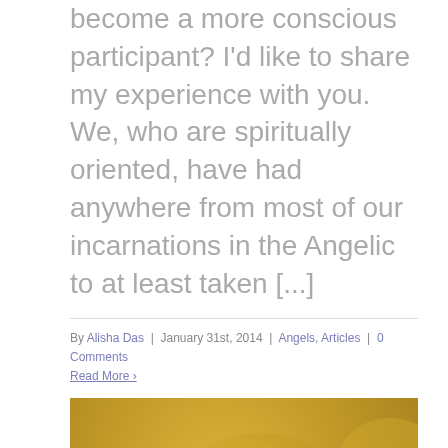become a more conscious participant? I'd like to share my experience with you. We, who are spiritually oriented, have had anywhere from most of our incarnations in the Angelic to at least taken [...]
By Alisha Das | January 31st, 2014 | Angels, Articles | 0 Comments
Read More ›
[Figure (photo): An ancient fresco or icon painting of an angel (Archangel Gabriel – Арх. Гавриил) with wings spread, a halo, auburn hair, and wearing white and blue robes, painted on a textured gold/ochre background.]